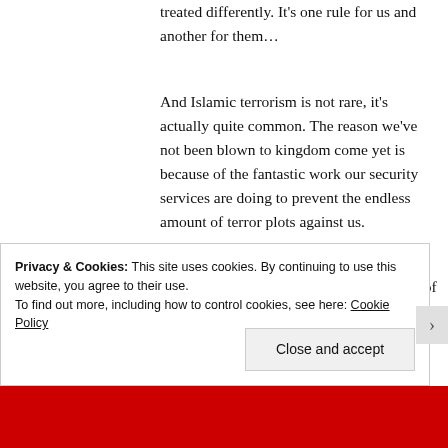treated differently. It's one rule for us and another for them…
And Islamic terrorism is not rare, it's actually quite common. The reason we've not been blown to kingdom come yet is because of the fantastic work our security services are doing to prevent the endless amount of terror plots against us.
The EDL are hardly street terrorists. Most of the people who get arrested at EDL demonstrations are part of the
Privacy & Cookies: This site uses cookies. By continuing to use this website, you agree to their use.
To find out more, including how to control cookies, see here: Cookie Policy
Close and accept